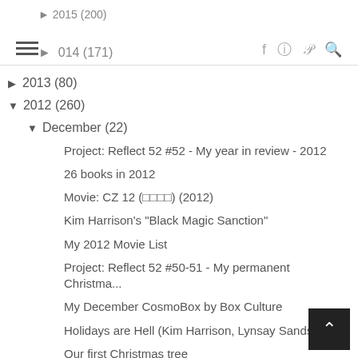2015 (200) | 2014 (171)
▶ 2013 (80)
▼ 2012 (260)
▼ December (22)
Project: Reflect 52 #52 - My year in review - 2012
26 books in 2012
Movie: CZ 12 (□□□□) (2012)
Kim Harrison's "Black Magic Sanction"
My 2012 Movie List
Project: Reflect 52 #50-51 - My permanent Christma...
My December CosmoBox by Box Culture
Holidays are Hell (Kim Harrison, Lynsay Sands, Mar...
Our first Christmas tree
Movie: The Hobbit: An Unexpected Journey (2012)
Movie: Life of Pi (2012)
Fruits and bread in KT
My father-in-law's homemade bread
Sarah Addison Allen's "The Girl Who Chased the Moon"